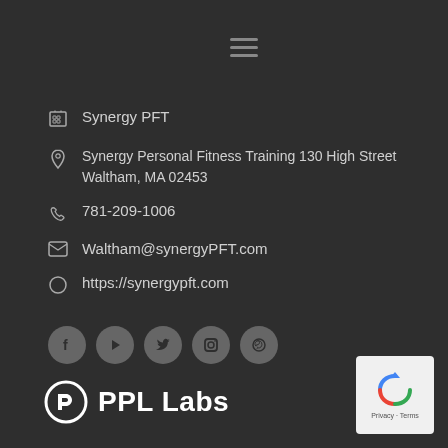[Figure (other): Hamburger menu icon (three horizontal lines) centered near top of page]
🏢 Synergy PFT
🏠 Synergy Personal Fitness Training 130 High Street Waltham, MA 02453
📞 781-209-1006
✉ Waltham@synergyPFT.com
🌐 https://synergypft.com
[Figure (other): Row of 5 social media icons: Facebook, YouTube, Twitter, Instagram, Pinterest — grey circles on dark background]
[Figure (logo): PPL Labs logo — white circular P icon followed by white bold text 'PPL Labs']
[Figure (other): Google reCAPTCHA badge in bottom right corner showing reCAPTCHA icon with 'Privacy · Terms' text]